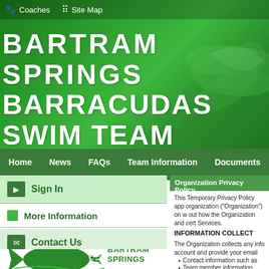Coaches   Site Map
BARTRAM SPRINGS BARRACUDAS SWIM TEAM
Home   News   FAQs   Team Information   Documents
Sign In
More Information
Contact Us
[Figure (logo): Bartram Springs Barracudas swim team logo featuring a barracuda fish with the text BARTRAM SPRINGS BARRACUDAS in green]
Organization Privacy Policy
This Temporary Privacy Policy app organization ("Organization") on w out how the Organization and cert Services.
INFORMATION COLLECT
The Organization collects any info account and provide your email ad may also collect
Contact information such as ad
Team member information, incl
Messages and chat you send w